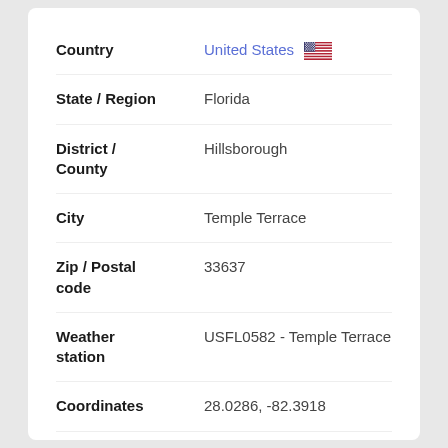| Field | Value |
| --- | --- |
| Country | United States 🇺🇸 |
| State / Region | Florida |
| District / County | Hillsborough |
| City | Temple Terrace |
| Zip / Postal code | 33637 |
| Weather station | USFL0582 - Temple Terrace |
| Coordinates | 28.0286, -82.3918 |
| Timezone | America/New_York (UTC-4) |